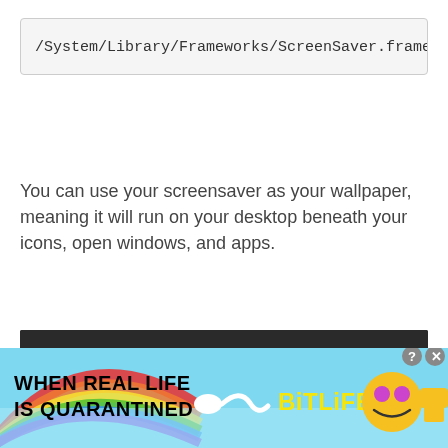/System/Library/Frameworks/ScreenSaver.framewor
You can use your screensaver as your wallpaper, meaning it will run on your desktop beneath your icons, open windows, and apps.
[Figure (screenshot): Embedded video player with dark background showing 0:00 timestamp and playback controls]
[Figure (infographic): BitLife advertisement banner with rainbow background, text 'WHEN REAL LIFE IS QUARANTINED' and BitLife logo with emoji characters]